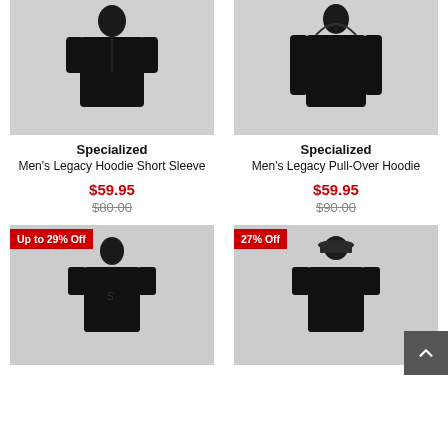[Figure (photo): Man wearing black Specialized short sleeve hoodie, cropped at waist]
[Figure (photo): Man wearing black Specialized long sleeve pull-over hoodie, cropped at waist]
Specialized
Men's Legacy Hoodie Short Sleeve
$59.95
$80.00
Specialized
Men's Legacy Pull-Over Hoodie
$59.95
$90.00
[Figure (photo): Man wearing black Specialized t-shirt, with 'Up to 29% Off' badge]
[Figure (photo): Man wearing black Specialized t-shirt with bucket hat, with '27% Off' badge]